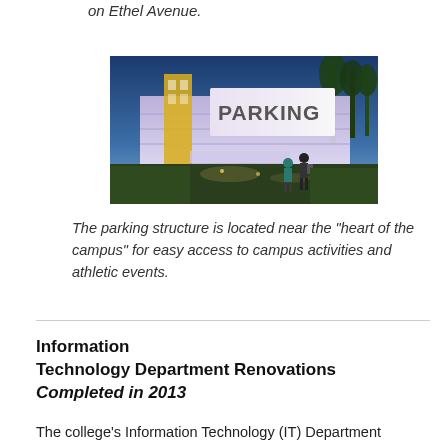on Ethel Avenue.
[Figure (photo): Exterior rendering of a parking structure at dusk with large PARKING sign illuminated, trees in background, two pedestrians in foreground]
The parking structure is located near the "heart of the campus" for easy access to campus activities and athletic events.
Information Technology Department Renovations Completed in 2013
The college's Information Technology (IT) Department